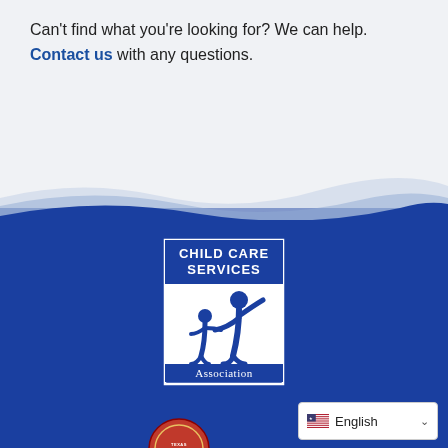Can't find what you're looking for? We can help. Contact us with any questions.
[Figure (logo): Child Care Services Association logo on blue background — white rectangle border with text 'CHILD CARE SERVICES' at top and 'Association' at bottom, with stylized adult and child figures in white silhouette in center]
[Figure (logo): Red circular seal partially visible at bottom left]
English